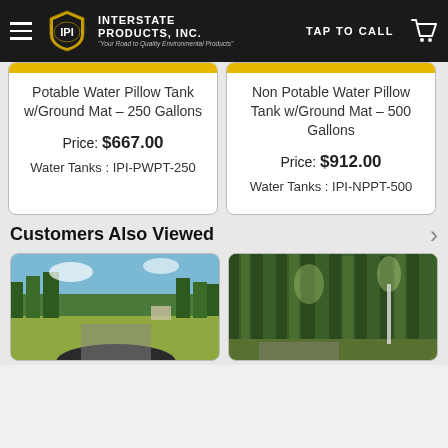Interstate Products, Inc. — TAP TO CALL
Potable Water Pillow Tank w/Ground Mat - 250 Gallons
Price: $667.00
Water Tanks : IPI-PWPT-250
Non Potable Water Pillow Tank w/Ground Mat - 500 Gallons
Price: $912.00
Water Tanks : IPI-NPPT-500
Customers Also Viewed
[Figure (photo): Outdoor landscape with road, trees, and open field]
[Figure (photo): Forest scene with tall green trees and road]